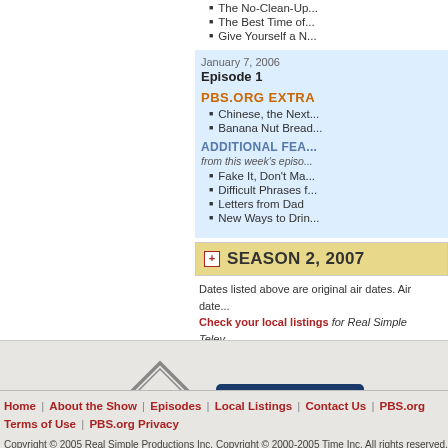The No-Clean-Up...
The Best Time of...
Give Yourself a N...
January 7, 2006
Episode 1
PBS.ORG EXTRA
Chinese, the Next...
Banana Nut Bread...
ADDITIONAL FEA...
from this week's episo...
Fake It, Don't Ma...
Difficult Phrases f...
Letters from Dad
New Ways to Drin...
SEASON 2, 2007
Dates listed above are original air dates. Air dates may vary by region. Check your local listings for Real Simple Television.
[Figure (logo): Clorox diamond logo in gray]
[Figure (logo): The Container Store button logo on dark blue background]
Underwritten by:
Home | About the Show | Episodes | Local Listings | Contact Us | PBS.org Terms of Use | PBS.org Privacy
Copyright © 2005 Real Simple Productions Inc. Copyright © 2000-2005 Time Inc. All rights reserved. Reproduction in whole or in part without permission is prohibited. REAL SIMPLE is a registered trademark of Time Inc. Used with permission.